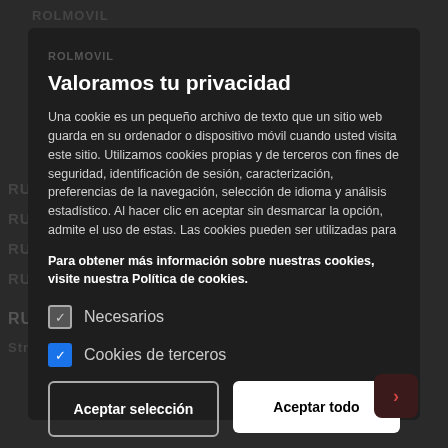ROLMOVIL
Valoramos tu privacidad
Una cookie es un pequeño archivo de texto que un sitio web guarda en su ordenador o dispositivo móvil cuando usted visita este sitio. Utilizamos cookies propias y de terceros con fines de seguridad, identificación de sesión, caracterización, preferencias de la navegación, selección de idioma y análisis estadístico. Al hacer clic en aceptar sin desmarcar la opción, admite el uso de estas. Las cookies pueden ser utilizadas para
Para obtener más información sobre nuestras cookies, visite nuestra Política de cookies.
Necesarios
Cookies de terceros
Aceptar selección
Aceptar todo